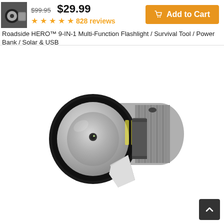[Figure (photo): Small thumbnail image of the Roadside HERO flashlight product]
$99.95  $29.99
★★★★★ 828 reviews
Add to Cart
Roadside HERO™ 9-IN-1 Multi-Function Flashlight / Survival Tool / Power Bank / Solar & USB
[Figure (photo): Main product photo of Roadside HERO flashlight/survival tool showing the black lens head with integrated window breaker and silver metallic body with textured grip]
[Figure (other): Dark scroll-to-top button with upward chevron arrow in bottom-right corner]